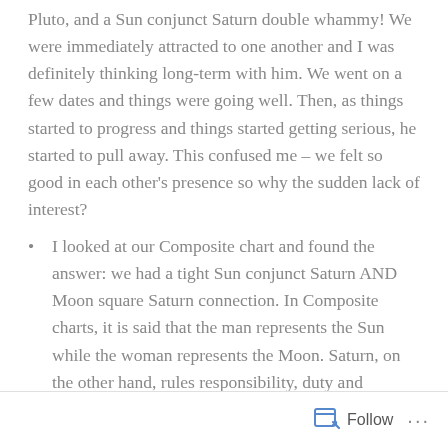Pluto, and a Sun conjunct Saturn double whammy! We were immediately attracted to one another and I was definitely thinking long-term with him. We went on a few dates and things were going well. Then, as things started to progress and things started getting serious, he started to pull away. This confused me – we felt so good in each other's presence so why the sudden lack of interest?
I looked at our Composite chart and found the answer: we had a tight Sun conjunct Saturn AND Moon square Saturn connection. In Composite charts, it is said that the man represents the Sun while the woman represents the Moon. Saturn, on the other hand, rules responsibility, duty and limitations.
Follow ···